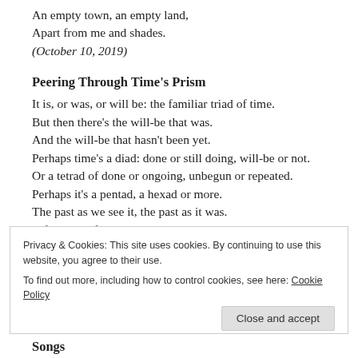An empty town, an empty land,
Apart from me and shades.
(October 10, 2019)
Peering Through Time’s Prism
It is, or was, or will be: the familiar triad of time.
But then there’s the will-be that was.
And the will-be that hasn’t been yet.
Perhaps time’s a diad: done or still doing, will-be or not.
Or a tetrad of done or ongoing, unbegun or repeated.
Perhaps it’s a pentad, a hexad or more.
The past as we see it, the past as it was.
A future we fear, or work toward with hope.
And perhaps it’s more motley, or varied and vast.
Privacy & Cookies: This site uses cookies. By continuing to use this website, you agree to their use.
To find out more, including how to control cookies, see here: Cookie Policy
Songs